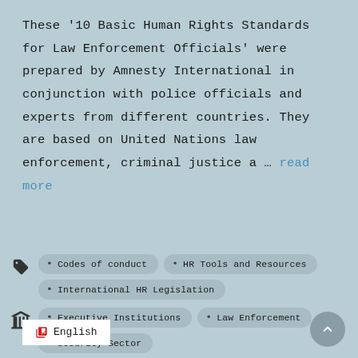These '10 Basic Human Rights Standards for Law Enforcement Officials' were prepared by Amnesty International in conjunction with police officials and experts from different countries. They are based on United Nations law enforcement, criminal justice a … read more
Codes of conduct • HR Tools and Resources • International HR Legislation
Executive Institutions • Law Enforcement • Security Sector
English